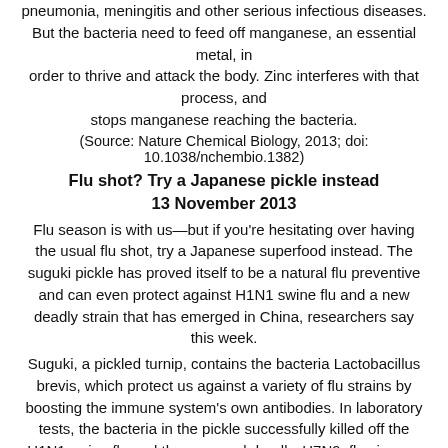pneumonia, meningitis and other serious infectious diseases. But the bacteria need to feed off manganese, an essential metal, in order to thrive and attack the body. Zinc interferes with that process, and stops manganese reaching the bacteria.
(Source: Nature Chemical Biology, 2013; doi: 10.1038/nchembio.1382)
Flu shot? Try a Japanese pickle instead
13 November 2013
Flu season is with us—but if you're hesitating over having the usual flu shot, try a Japanese superfood instead. The suguki pickle has proved itself to be a natural flu preventive and can even protect against H1N1 swine flu and a new deadly strain that has emerged in China, researchers say this week.
Suguki, a pickled turnip, contains the bacteria Lactobacillus brevis, which protect us against a variety of flu strains by boosting the immune system's own antibodies. In laboratory tests, the bacteria in the pickle successfully killed off the H1N1 swine flu and the new, and deadly, H7N9, flu viruses. Japanese researchers aren't quite sure why the bacteria are such an efficient flu fighter, but they are coated with sugars that protect them from the stomach's acids that usually kill off bacteria.